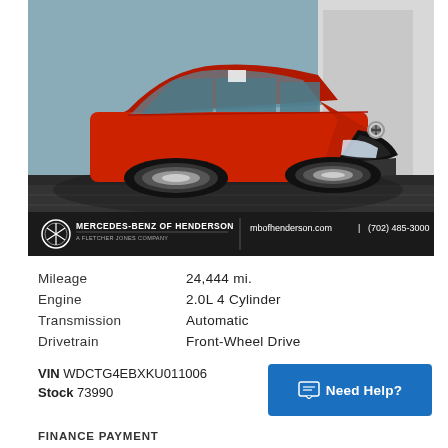[Figure (photo): Red Mercedes-Benz GLA SUV photographed at a dealership (Mercedes-Benz of Henderson, a Fletcher Jones Company). The car is shown in a front three-quarter view on a cobblestone surface. A black dealer banner runs across the bottom of the photo showing the dealership logo, name, website mbofhenderson.com and phone (702) 485-3000.]
| Mileage | 24,444 mi. |
| Engine | 2.0L 4 Cylinder |
| Transmission | Automatic |
| Drivetrain | Front-Wheel Drive |
VIN WDCTG4EBXKU011006
Stock 73990
Need Help?
FINANCE PAYMENT